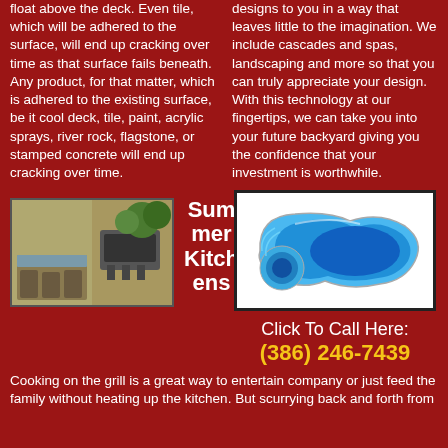float above the deck. Even tile, which will be adhered to the surface, will end up cracking over time as that surface fails beneath. Any product, for that matter, which is adhered to the existing surface, be it cool deck, tile, paint, acrylic sprays, river rock, flagstone, or stamped concrete will end up cracking over time.
designs to you in a way that leaves little to the imagination. We include cascades and spas, landscaping and more so that you can truly appreciate your design. With this technology at our fingertips, we can take you into your future backyard giving you the confidence that your investment is worthwhile.
[Figure (photo): Outdoor kitchen/summer kitchen with grill and patio seating]
Summer Kitchens
[Figure (illustration): Blue swimming pool shape illustration from above, kidney/freeform shape with spa]
Click To Call Here:
(386) 246-7439
Cooking on the grill is a great way to entertain company or just feed the family without heating up the kitchen. But scurrying back and forth from